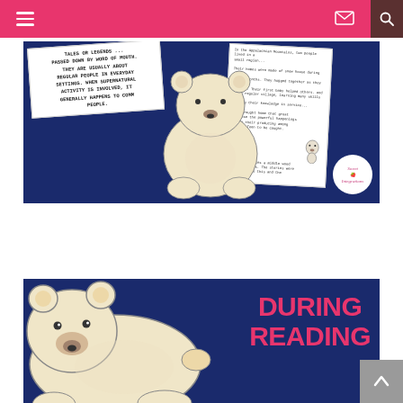Navigation bar with hamburger menu, mail icon, and search icon
[Figure (illustration): Educational worksheet image on dark navy background featuring a polar bear illustration in center, text worksheet on left reading 'TALES OR LEGENDS... PASSED DOWN BY WORD OF MOUTH. THEY ARE USUALLY ABOUT REGULAR PEOPLE IN EVERYDAY SETTINGS. WHEN SUPERNATURAL ACTIVITY IS INVOLVED, IT GENERALLY HAPPENS TO COMMON PEOPLE.', a reading passage on right, and Sweet Integrations logo badge in bottom right corner.]
[Figure (illustration): Dark navy background image showing a large illustrated polar bear (cream/white colored with brown nose and dark eyes) on left side, and bold pink text on right reading 'DURING READING']